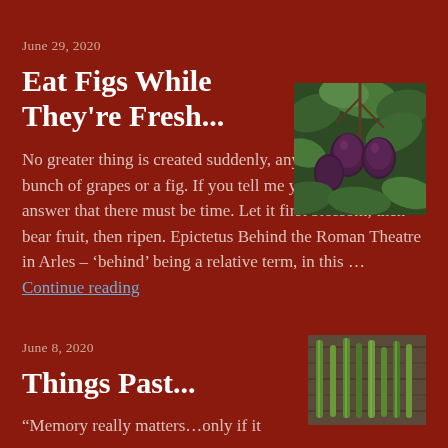June 29, 2020
Eat Figs While They're Fresh...
[Figure (photo): Photo of dark purple figs hanging on a tree with green leaves]
No greater thing is created suddenly, any more than a bunch of grapes or a fig. If you tell me you desire a fig, I answer that there must be time. Let it first blossom, then bear fruit, then ripen. Epictetus Behind the Roman Theatre in Arles – 'behind' being a relative term, in this … Continue reading
June 8, 2020
Things Past...
[Figure (photo): Photo of green plants, possibly okra or similar vegetables on a wooden surface]
“Memory really matters…only if it